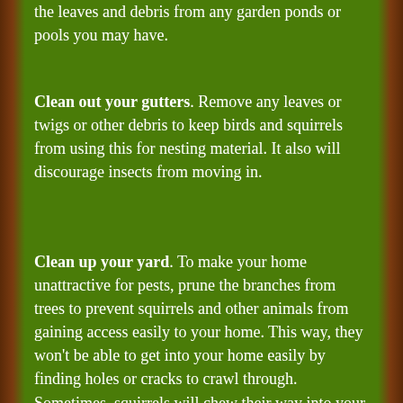the leaves and debris from any garden ponds or pools you may have.
Clean out your gutters. Remove any leaves or twigs or other debris to keep birds and squirrels from using this for nesting material. It also will discourage insects from moving in.
Clean up your yard. To make your home unattractive for pests, prune the branches from trees to prevent squirrels and other animals from gaining access easily to your home. This way, they won't be able to get into your home easily by finding holes or cracks to crawl through. Sometimes, squirrels will chew their way into your homes, so keeping them away will solve this problem. Include your garden in this clean up. You also will want to think about planting some plants that animals don't like to keep them away from those they do like.